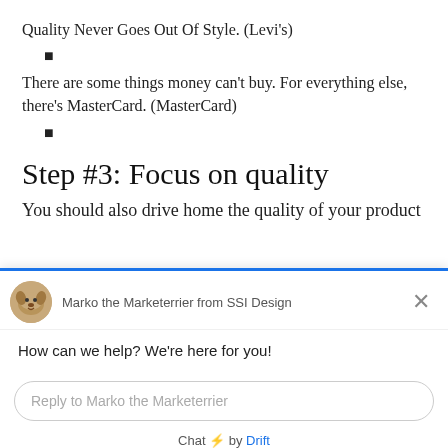Quality Never Goes Out Of Style. (Levi's)
■
There are some things money can't buy. For everything else, there's MasterCard. (MasterCard)
■
Step #3: Focus on quality
You should also drive home the quality of your product
[Figure (screenshot): Drift chat widget overlay showing 'Marko the Marketerrier from SSI Design' with dog avatar, message 'How can we help? We're here for you!', reply input field, and 'Chat ⚡ by Drift' footer.]